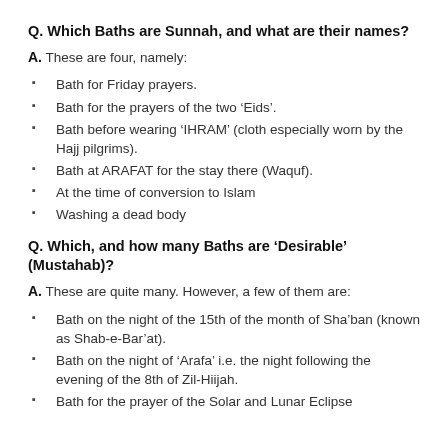Q. Which Baths are Sunnah, and what are their names?
A. These are four, namely:
Bath for Friday prayers.
Bath for the prayers of the two ‘Eids’.
Bath before wearing ‘IHRAM’ (cloth especially worn by the Hajj pilgrims).
Bath at ARAFAT for the stay there (Waquf).
At the time of conversion to Islam
Washing a dead body
Q. Which, and how many Baths are ‘Desirable’ (Mustahab)?
A. These are quite many. However, a few of them are:
Bath on the night of the 15th of the month of Sha’ban (known as Shab-e-Bar’at).
Bath on the night of ‘Arafa’ i.e. the night following the evening of the 8th of Zil-Hiijah.
Bath for the prayer of the Solar and Lunar Eclipse